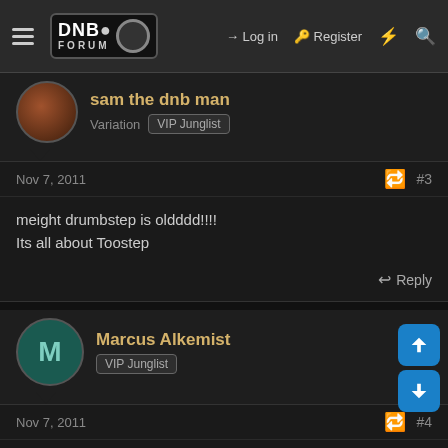DNB Forum – Log in | Register
sam the dnb man
Variation  VIP Junglist
Nov 7, 2011  #3
meight drumbstep is oldddd!!!!
Its all about Toostep
Marcus Alkemist
VIP Junglist
Nov 7, 2011  #4
gwarn its about dat neuro jump up embers jungle